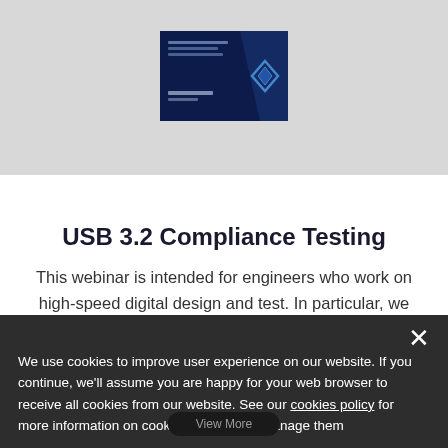[Figure (screenshot): Thumbnail image of a dark blue presentation slide related to USB 3.2 compliance testing, with a diamond/rhombus logo watermark and text on it.]
USB 3.2 Compliance Testing
This webinar is intended for engineers who work on high-speed digital design and test. In particular, we will be focusing at USB interfaces....
We use cookies to improve user experience on our website. If you continue, we'll assume you are happy for your web browser to receive all cookies from our website. See our cookies policy for more information on cookies and how to manage them
View More